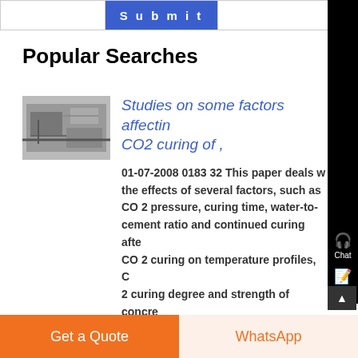|  | Submit |  |
| --- | --- | --- |
|  |
Popular Searches
[Figure (photo): Thumbnail image of industrial machinery or equipment related to CO2 curing]
Studies on some factors affecting CO2 curing of ,
01-07-2008 0183 32 This paper deals with the effects of several factors, such as CO 2 pressure, curing time, water-to-cement ratio and continued curing after CO 2 curing on temperature profiles, CO 2 curing degree and strength of concrete. Results indicated that the accelerated
Get a Quote
WhatsApp